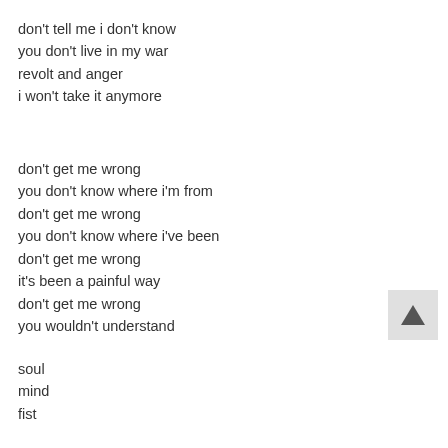don't tell me i don't know
you don't live in my war
revolt and anger
i won't take it anymore
don't get me wrong
you don't know where i'm from
don't get me wrong
you don't know where i've been
don't get me wrong
it's been a painful way
don't get me wrong
you wouldn't understand
soul
mind
fist